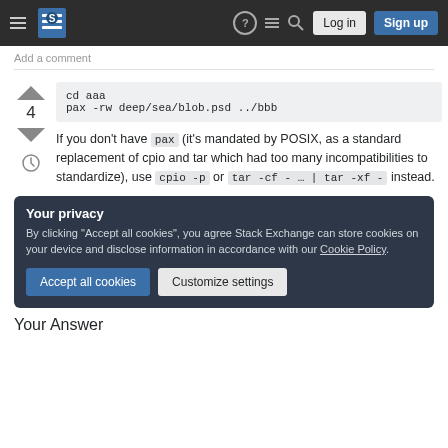Stack Exchange navigation bar with Log in and Sign up buttons
Add a comment
cd aaa
pax -rw deep/sea/blob.psd ../bbb
If you don't have pax (it's mandated by POSIX, as a standard replacement of cpio and tar which had too many incompatibilities to standardize), use cpio -p or tar -cf - … | tar -xf - instead.
Your privacy
By clicking "Accept all cookies", you agree Stack Exchange can store cookies on your device and disclose information in accordance with our Cookie Policy.
Accept all cookies | Customize settings
Your Answer